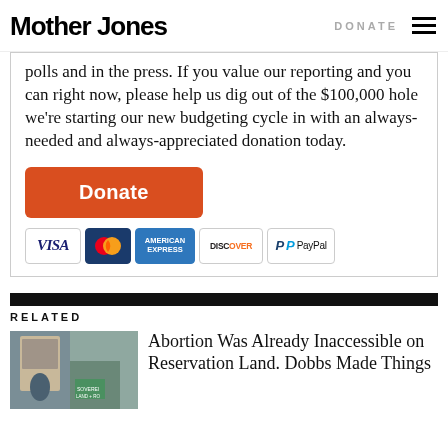Mother Jones | DONATE
polls and in the press. If you value our reporting and you can right now, please help us dig out of the $100,000 hole we're starting our new budgeting cycle in with an always-needed and always-appreciated donation today.
[Figure (screenshot): Orange Donate button]
[Figure (screenshot): Payment method logos: VISA, MasterCard, American Express, Discover, PayPal]
RELATED
[Figure (photo): Person holding protest sign outside building]
Abortion Was Already Inaccessible on Reservation Land. Dobbs Made Things